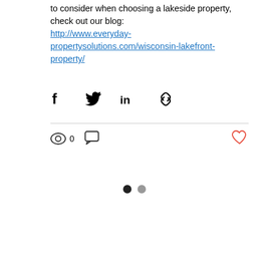to consider when choosing a lakeside property, check out our blog: http://www.everyday-propertysolutions.com/wisconsin-lakefront-property/
[Figure (infographic): Social share icons: Facebook, Twitter, LinkedIn, and copy link]
[Figure (infographic): Post stats bar: eye/views icon with count 0, comment icon, and heart/like icon]
[Figure (infographic): Pagination dots: one filled black dot and one grey dot]